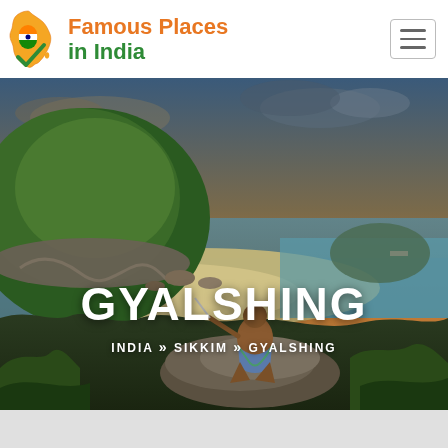[Figure (logo): India map logo with orange and green colors, tricolor flag, checkmark]
Famous Places in India
[Figure (photo): Scenic coastal landscape with tropical island, beach, turquoise water, rocky shore, lush green hills, dramatic sky at sunset. A shirtless person sits on a rock in the foreground viewing the scene.]
GYALSHING
INDIA » SIKKIM » GYALSHING